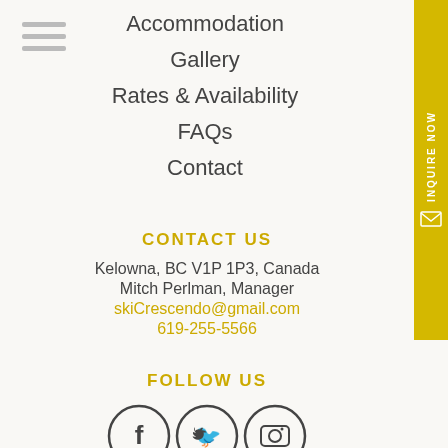Accommodation
Gallery
Rates & Availability
FAQs
Contact
CONTACT US
Kelowna, BC V1P 1P3, Canada
Mitch Perlman, Manager
skiCrescendo@gmail.com
619-255-5566
FOLLOW US
[Figure (illustration): Three social media icons in circles: Facebook (f), Twitter (bird), Instagram (camera)]
NEWSLETTER REGISTRATION
Name